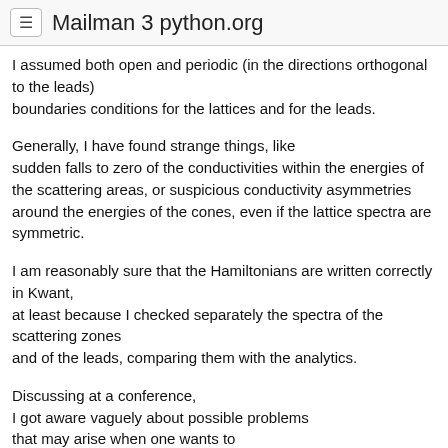Mailman 3 python.org
I assumed both open and periodic (in the directions orthogonal to the leads)
boundaries conditions for the lattices and for the leads.
Generally, I have found strange things, like
suddenly falls to zero of the conductivities within the energies of the scattering areas, or suspicious conductivity asymmetries
around the energies of the cones, even if the lattice spectra are symmetric.
I am reasonably sure that the Hamiltonians are written correctly in Kwant,
at least because I checked separately the spectra of the scattering zones
and of the leads, comparing them with the analytics.
Discussing at a conference,
I got aware vaguely about possible problems
that may arise when one wants to
discretize in real space an Hamiltonian originally written in